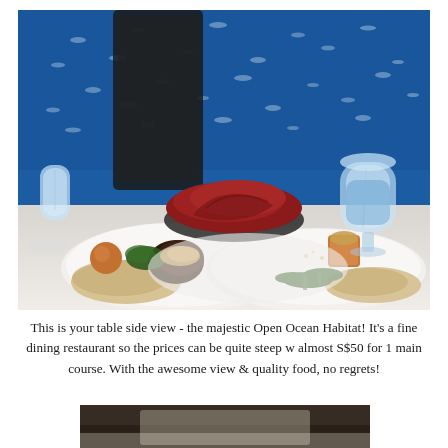[Figure (photo): Fine dining table with two white plates of food (meat with greens and sauce, scallop with broccoli), a red folded napkin on a dark plate, a glass of water, set against a large blue aquarium window filled with fish (Open Ocean Habitat).]
This is your table side view - the majestic Open Ocean Habitat! It's a fine dining restaurant so the prices can be quite steep w almost S$50 for 1 main course. With the awesome view & quality food, no regrets!
[Figure (photo): Partial view of a second photo showing a dining scene, cropped at the bottom of the page.]